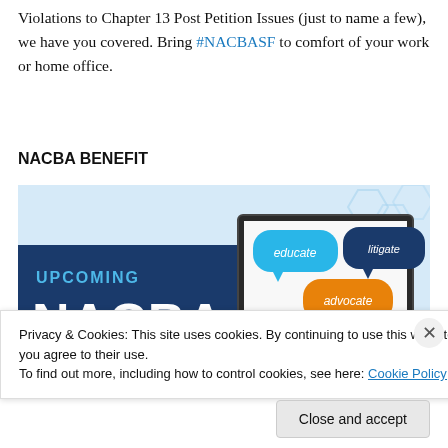Violations to Chapter 13 Post Petition Issues (just to name a few), we have you covered. Bring #NACBASF to comfort of your work or home office.
NACBA BENEFIT
[Figure (illustration): NACBA promotional banner image showing text 'UPCOMING NACBA' on a dark blue background with speech bubble graphics reading 'educate', 'litigate', and 'advocate' overlaid on a laptop screen with a light blue geometric background.]
Privacy & Cookies: This site uses cookies. By continuing to use this website, you agree to their use.
To find out more, including how to control cookies, see here: Cookie Policy
Close and accept